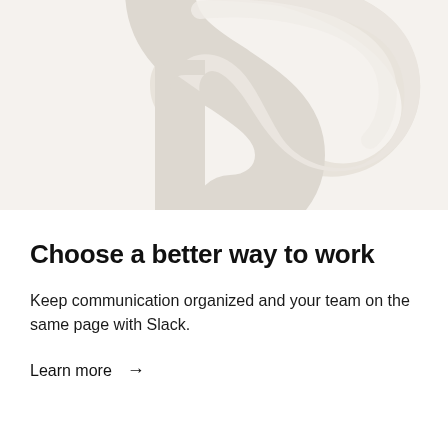[Figure (photo): Abstract close-up photo of a smooth white S-shaped or curved tube/rod against a light beige/cream background, showing clean minimal aesthetic design]
Choose a better way to work
Keep communication organized and your team on the same page with Slack.
Learn more →